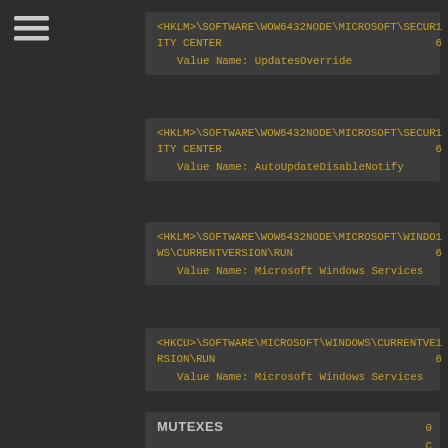[Figure (other): Hamburger menu icon (three horizontal lines)]
<HKLM>\SOFTWARE\WOW6432NODE\MICROSOFT\SECURITY CENTER
    Value Name: UpdatesOverride
16
<HKLM>\SOFTWARE\WOW6432NODE\MICROSOFT\SECURITY CENTER
    Value Name: AutoUpdateDisableNotify
16
<HKLM>\SOFTWARE\WOW6432NODE\MICROSOFT\WINDOWS\CURRENTVERSION\RUN
    Value Name: Microsoft Windows Services
16
<HKCU>\SOFTWARE\MICROSOFT\WINDOWS\CURRENTVERSION\RUN
    Value Name: Microsoft Windows Services
16
MUTEXES
0
C
C